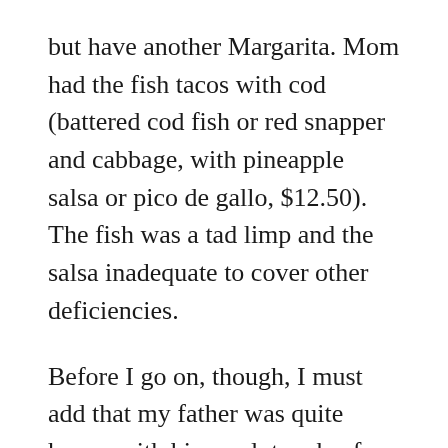but have another Margarita. Mom had the fish tacos with cod (battered cod fish or red snapper and cabbage, with pineapple salsa or pico de gallo, $12.50). The fish was a tad limp and the salsa inadequate to cover other deficiencies.
Before I go on, though, I must add that my father was quite happy with his meal, two beef enchiladas ($12.00). I'm not sure what the lesson is here, but I'd wager it's that the simpler meals at Hacienda are the better ones, or maybe